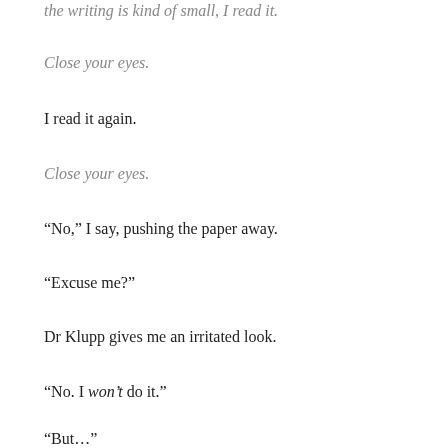the writing is kind of small, I read it.
Close your eyes.
I read it again.
Close your eyes.
“No,” I say, pushing the paper away.
“Excuse me?”
Dr Klupp gives me an irritated look.
“No. I won’t do it.”
“But…”